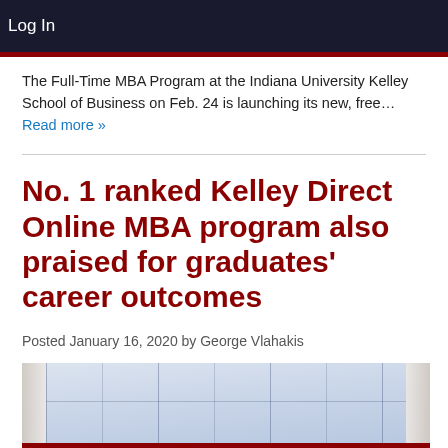Log In
The Full-Time MBA Program at the Indiana University Kelley School of Business on Feb. 24 is launching its new, free… Read more »
No. 1 ranked Kelley Direct Online MBA program also praised for graduates' career outcomes
Posted January 16, 2020 by George Vlahakis
[Figure (photo): Interior photo showing large windows with curtains, bright light coming through, building interior with glass panels]